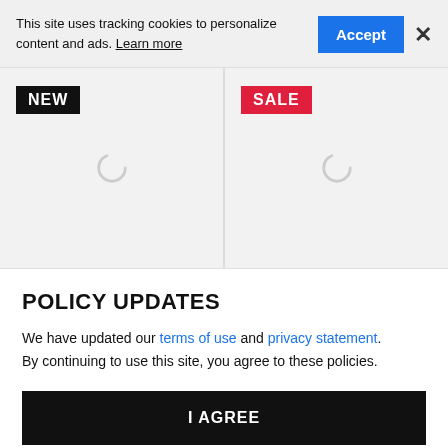This site uses tracking cookies to personalize content and ads. Learn more
[Figure (screenshot): Two product image placeholders side by side. Left card has a black 'NEW' badge, right card has a red 'SALE' badge. Both show loading spinner icons.]
POLICY UPDATES
We have updated our terms of use and privacy statement. By continuing to use this site, you agree to these policies.
I AGREE